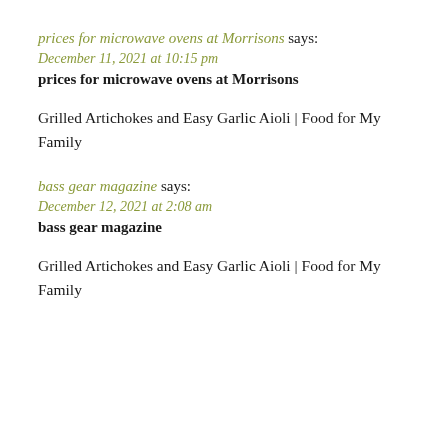prices for microwave ovens at Morrisons says:
December 11, 2021 at 10:15 pm
prices for microwave ovens at Morrisons
Grilled Artichokes and Easy Garlic Aioli | Food for My Family
bass gear magazine says:
December 12, 2021 at 2:08 am
bass gear magazine
Grilled Artichokes and Easy Garlic Aioli | Food for My Family